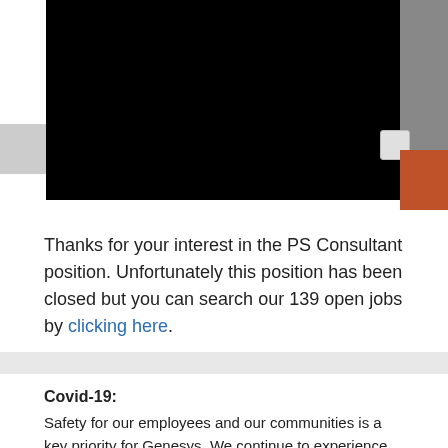[Figure (screenshot): Black video player area with gray sidebar and orange accent strip on right]
Thanks for your interest in the PS Consultant position. Unfortunately this position has been closed but you can search our 139 open jobs by clicking here.
Covid-19:
Safety for our employees and our communities is a key priority for Genesys. We continue to experience rapid growth during the Covid-19 pandemic and are conducting remote hiring and onboarding processes. All hiring and onboarding processes are